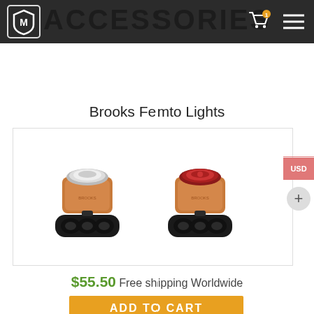ACCESSORIES
Brooks Femto Lights
[Figure (photo): Two Brooks Femto bicycle lights — small gold/copper cylindrical LED lights with black rubber mounting brackets. Left light has a white/clear lens, right light has a red lens.]
$55.50 Free shipping Worldwide
ADD TO CART